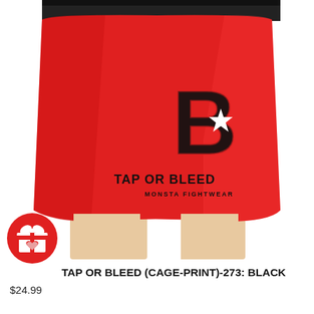[Figure (photo): Red athletic shorts (Tap or Bleed Cage-Print-273) worn by a person, featuring a large black cage-pattern logo with '13' and 'TAP OR BLEED / MONSTA FIGHTWEAR' text on the side. White background.]
[Figure (illustration): Red circular gift icon badge with white gift box graphic featuring a bow and heart, overlaid on the bottom-left of the product image.]
TAP OR BLEED (CAGE-PRINT)-273: BLACK
$24.99